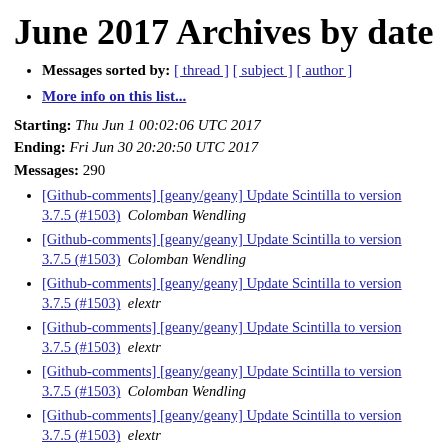June 2017 Archives by date
Messages sorted by: [ thread ] [ subject ] [ author ]
More info on this list...
Starting: Thu Jun 1 00:02:06 UTC 2017
Ending: Fri Jun 30 20:20:50 UTC 2017
Messages: 290
[Github-comments] [geany/geany] Update Scintilla to version 3.7.5 (#1503)  Colomban Wendling
[Github-comments] [geany/geany] Update Scintilla to version 3.7.5 (#1503)  Colomban Wendling
[Github-comments] [geany/geany] Update Scintilla to version 3.7.5 (#1503)  elextr
[Github-comments] [geany/geany] Update Scintilla to version 3.7.5 (#1503)  elextr
[Github-comments] [geany/geany] Update Scintilla to version 3.7.5 (#1503)  Colomban Wendling
[Github-comments] [geany/geany] Update Scintilla to version 3.7.5 (#1503)  elextr
[Github-comments] [geany/geany] Update Scintilla to version 3.7.5 (#1503)  Colomban Wendling
[Github-comments] [geany/geany] Update Scintilla to ...